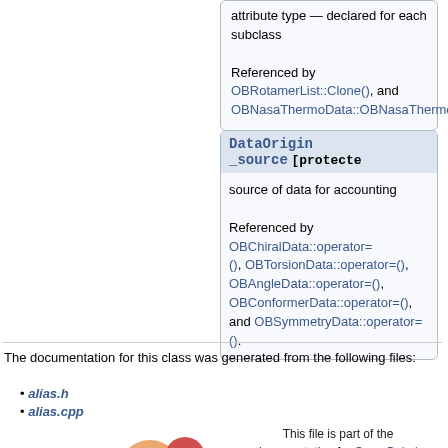attribute type — declared for each subclass

Referenced by OBRotamerList::Clone(), and OBNasaThermoData::OBNasaThermoData().
DataOrigin _source [protected]
source of data for accounting

Referenced by OBChiralData::operator=(), OBTorsionData::operator=(), OBAngleData::operator=(), OBConformerData::operator=(), and OBSymmetryData::operator=().
The documentation for this class was generated from the following files:
alias.h
alias.cpp
This file is part of the documentation for Open Babel, version 2.3.

Documentation copyright © 1998-2007